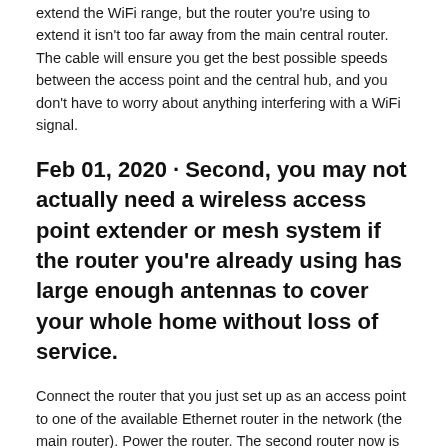extend the WiFi range, but the router you're using to extend it isn't too far away from the main central router. The cable will ensure you get the best possible speeds between the access point and the central hub, and you don't have to worry about anything interfering with a WiFi signal.
Feb 01, 2020 · Second, you may not actually need a wireless access point extender or mesh system if the router you're already using has large enough antennas to cover your whole home without loss of service.
Connect the router that you just set up as an access point to one of the available Ethernet router in the network (the main router). Power the router. The second router now is set up and connected to function as an access point. Jun 11, 2020 · Access point (AP) mode enables your router to function as a gateway